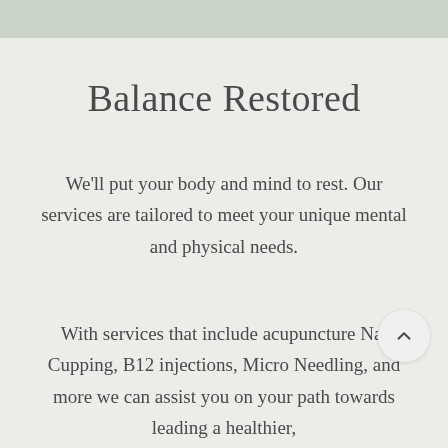Balance Restored
We’ll put your body and mind to rest. Our services are tailored to meet your unique mental and physical needs.
With services that include acupuncture Na, Cupping, B12 injections, Micro Needling, and more we can assist you on your path towards leading a healthier,